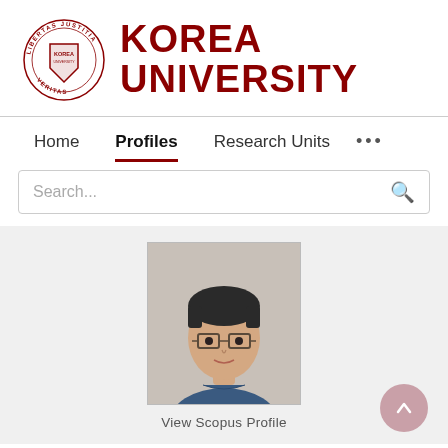[Figure (logo): Korea University logo with circular seal (LIBERTAS JUSTITIA VERITAS) and bold text 'KOREA UNIVERSITY' in dark red]
Home   Profiles   Research Units   ...
Search...
[Figure (photo): Headshot of an East Asian man with glasses and dark hair, wearing a dark blue collared shirt, against a plain background]
View Scopus Profile